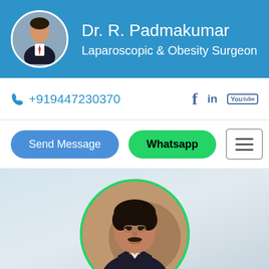Dr. R. Padmakumar
Laparoscopic & Obesity Surgeon
+919447230370
Send Message
Whatsapp
[Figure (photo): Circular portrait photo of Dr. R. Padmakumar in a suit]
Dr. R. Padmakumar